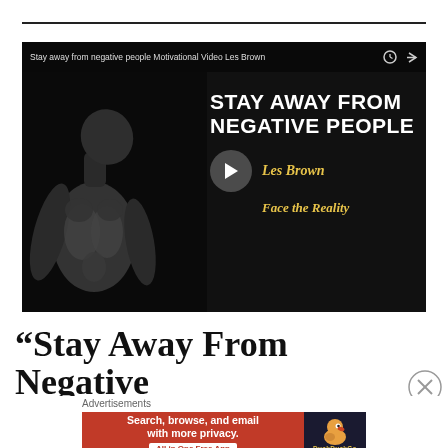[Figure (screenshot): YouTube video thumbnail for 'Stay away from negative people Motivational Video Les Brown'. Shows a black and white bodybuilder on left side, with white bold text 'STAY AWAY FROM NEGATIVE PEOPLE', gold italic text 'Les Brown' and 'Face the Reality', and a play button in the center.]
“Stay Away From Negative People They Will Ruin Your
[Figure (screenshot): DuckDuckGo advertisement banner: orange/red left section with text 'Search, browse, and email with more privacy. All in One Free App' and a dark right section with DuckDuckGo duck logo and 'DuckDuckGo' text in gold.]